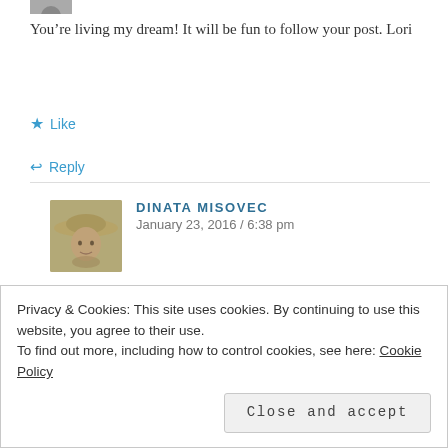[Figure (photo): Small avatar photo cropped at top left corner]
You’re living my dream! It will be fun to follow your post. Lori
★ Like
↩ Reply
[Figure (photo): Profile photo of Dinata Misovec, a woman wearing a wide-brimmed hat, outdoors]
DINATA MISOVEC
January 23, 2016 / 6:38 pm
It is a great retirement lifestyle and I highly
Privacy & Cookies: This site uses cookies. By continuing to use this website, you agree to their use.
To find out more, including how to control cookies, see here: Cookie Policy
Close and accept